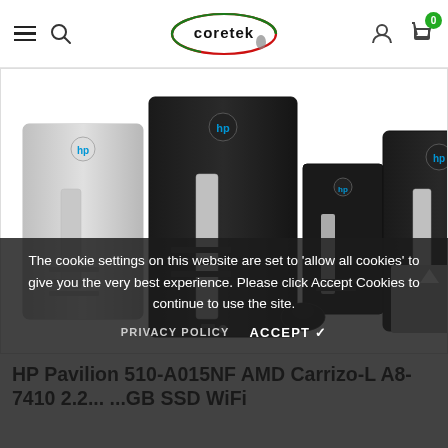coretek [navigation bar with hamburger, search, logo, user, cart icons]
[Figure (photo): Four HP Pavilion desktop tower computer units shown in thumbnail strip. Left: silver/grey tower, second: black tower front view, third: black tower side/angled view with mouse, fourth: black tower. A grey scroll-up arrow button on far right.]
The cookie settings on this website are set to 'allow all cookies' to give you the very best experience. Please click Accept Cookies to continue to use the site.
PRIVACY POLICY     ACCEPT ✓
HP Pavilion 510-A015NF AMD Carrizo-L A8-7410 2.2... ...GB SSD WiFi